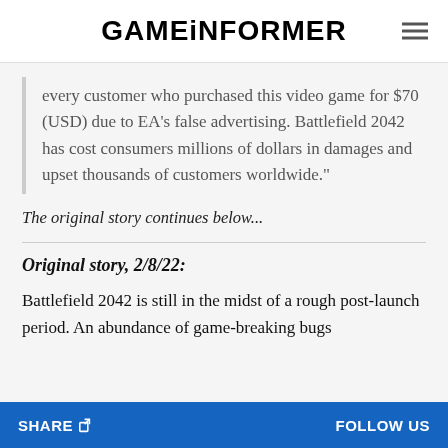GAMEINFORMER
every customer who purchased this video game for $70 (USD) due to EA’s false advertising. Battlefield 2042 has cost consumers millions of dollars in damages and upset thousands of customers worldwide."
The original story continues below...
Original story, 2/8/22:
Battlefield 2042 is still in the midst of a rough post-launch period. An abundance of game-breaking bugs
SHARE  FOLLOW US